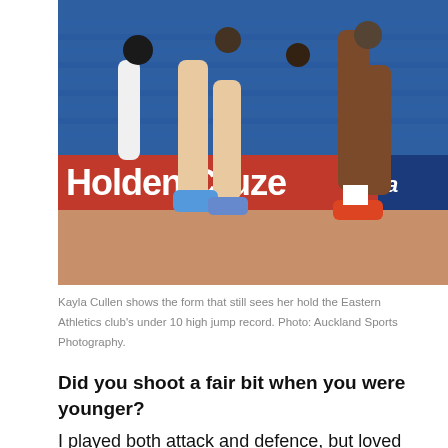[Figure (photo): Netball players in action on a court with a red Holden Cruze advertising banner visible at court level. Players' legs and feet are visible, with blue stadium seating and spectators in the background. An Asics logo is visible on the right side of the banner.]
Kayla Cullen shows the form that still sees her hold the Eastern Athletics club's under 10 high jump record. Photo: Auckland Sports Photography.
Did you shoot a fair bit when you were younger?
I played both attack and defence, but loved goal